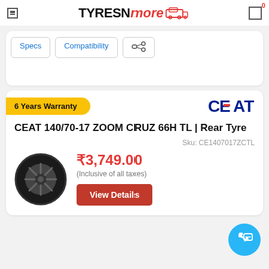TYRES N more
Specs
Compatibility
CEAT 140/70-17 ZOOM CRUZ 66H TL | Rear Tyre
Sku: CE1407017ZCTL
6 Years Warranty
[Figure (photo): CEAT tyre product image - black motorcycle rear tyre with spoked rim]
₹3,749.00
(Inclusive of all taxes)
View Details